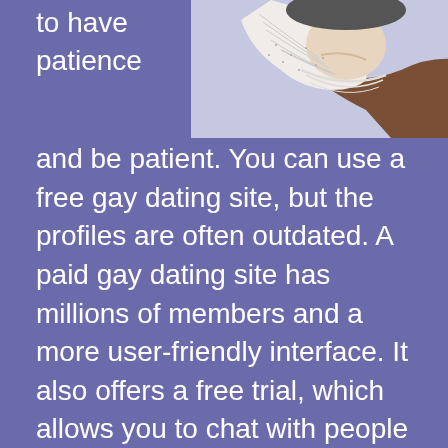to have patience
[Figure (illustration): Illustration of a person, partially cropped, showing neck/chin area and clothing with a purple/blue background]
and be patient. You can use a free gay dating site, but the profiles are often outdated. A paid gay dating site has millions of members and a more user-friendly interface. It also offers a free trial, which allows you to chat with people you like. You can upgrade to the Pro version for more features, such as photo sharing and video chat.
The website allows you to chat with other members of the gay community for free, which means that you can check whether you're